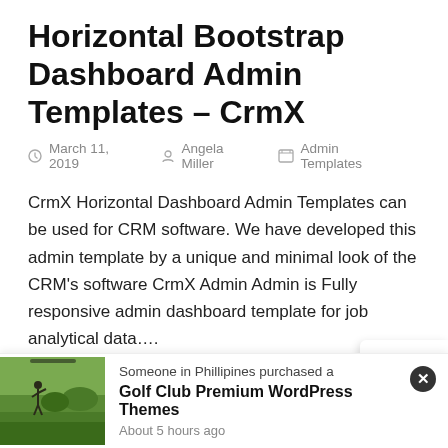Horizontal Bootstrap Dashboard Admin Templates – CrmX
March 11, 2019   Angela Miller   Admin Templates
CrmX Horizontal Dashboard Admin Templates can be used for CRM software. We have developed this admin template by a unique and minimal look of the CRM's software CrmX Admin Admin is Fully responsive admin dashboard template for job analytical data….
Read More
[Figure (illustration): Life preserver / lifebuoy icon in red and white on a white popup card on the right side]
[Figure (photo): Small thumbnail photo of a golf course with a golfer, green landscape]
Someone in Phillipines purchased a Golf Club Premium WordPress Themes About 5 hours ago